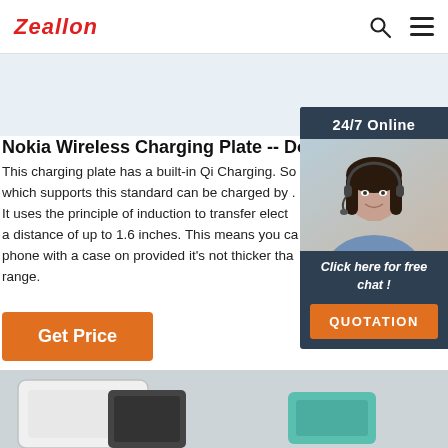Zeallon
Nokia Wireless Charging Plate -- Do you real
This charging plate has a built-in Qi Charging. So which supports this standard can be charged by . It uses the principle of induction to transfer elect a distance of up to 1.6 inches. This means you ca phone with a case on provided it's not thicker tha range.
Get Price
[Figure (photo): Chat widget with '24/7 Online' header, photo of a woman wearing a headset, 'Click here for free chat!' text, and an orange QUOTATION button]
[Figure (photo): Bottom of page showing partial view of electronic devices including a white charging plate and teal colored objects on a grey background]